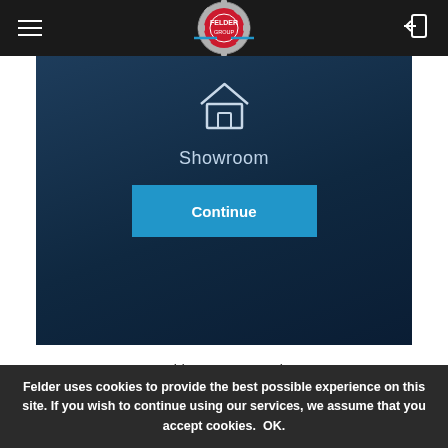Felder Group (logo/navigation bar)
[Figure (screenshot): Dark blue panel showing a house icon above the text 'Showroom' and a blue 'Continue' button]
Showroom
Continue
Felder Group Estonia
Tel.: +372 51 61052
Felder uses cookies to provide the best possible experience on this site. If you wish to continue using our services, we assume that you accept cookies.  OK.